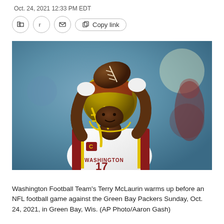Oct. 24, 2021 12:33 PM EDT
[Figure (photo): Washington Football Team's Terry McLaurin in a yellow helmet and white jersey catching/holding a football above his head, warming up before an NFL game against the Green Bay Packers.]
Washington Football Team's Terry McLaurin warms up before an NFL football game against the Green Bay Packers Sunday, Oct. 24, 2021, in Green Bay, Wis. (AP Photo/Aaron Gash)